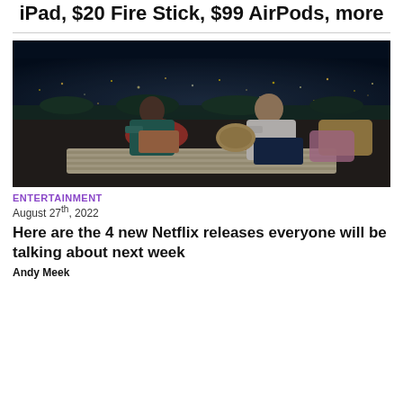iPad, $20 Fire Stick, $99 AirPods, more
[Figure (photo): Two people sitting on outdoor cushions at night with city lights in the background, appearing to be on a rooftop or terrace. A woman in a colorful outfit and a man in a white shirt are conversing.]
ENTERTAINMENT
August 27th, 2022
Here are the 4 new Netflix releases everyone will be talking about next week
Andy Meek